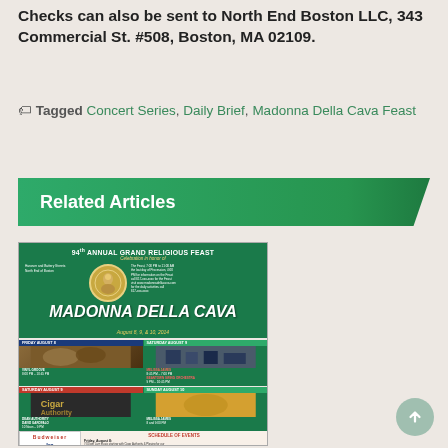Checks can also be sent to North End Boston LLC, 343 Commercial St. #508, Boston, MA 02109.
Tagged Concert Series, Daily Brief, Madonna Della Cava Feast
Related Articles
[Figure (photo): Event poster for the 94th Annual Grand Religious Feast - Madonna Della Cava, August 8, 9, & 10, 2014, with schedule of events, sponsors (Budweiser, Ira Toyota), and performers including Vinyl Groove, Melissa James, Beantown Swing Orchestra, Cigar Authority, Dean Authority, David Garofalo]